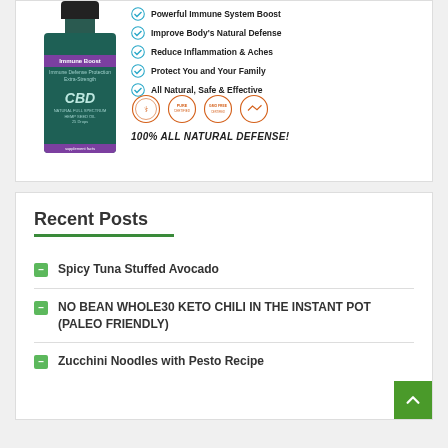[Figure (photo): CBD Immune Boost product bottle with checklist of benefits: Powerful Immune System Boost, Improve Body's Natural Defense, Reduce Inflammation & Aches, Protect You and Your Family, All Natural, Safe & Effective. Four certification badges shown. Text: 100% ALL NATURAL DEFENSE!]
Recent Posts
Spicy Tuna Stuffed Avocado
NO BEAN WHOLE30 KETO CHILI IN THE INSTANT POT (PALEO FRIENDLY)
Zucchini Noodles with Pesto Recipe